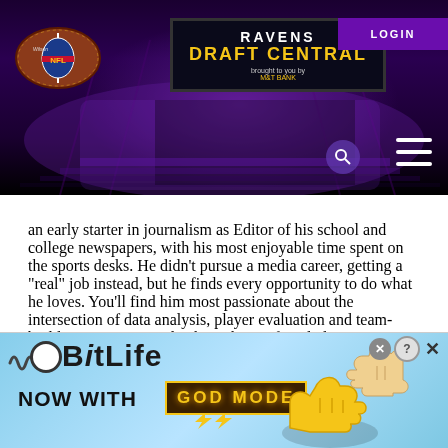[Figure (screenshot): Ravens Draft Central website header with NFL football logo, Ravens Draft Central sign, LOGIN button, search icon, and hamburger menu over a purple-lit stadium background]
an early starter in journalism as Editor of his school and college newspapers, with his most enjoyable time spent on the sports desks. He didn't pursue a media career, getting a “real” job instead, but he finds every opportunity to do what he loves. You’ll find him most passionate about the intersection of data analysis, player evaluation and team-building, writing mostly about the Draft and player evaluation from a Ravens perspective. As a player of the game, to put his performance in scouting lingo, he was a core special teams
[Figure (screenshot): BitLife advertisement banner with 'NOW WITH GOD MODE' text, thumbs up illustration, pointing hand, and close/help buttons on a light blue background]